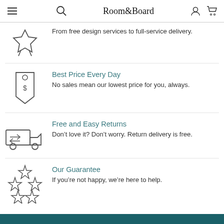Room&Board
From free design services to full-service delivery.
Best Price Every Day
No sales mean our lowest price for you, always.
Free and Easy Returns
Don't love it? Don't worry. Return delivery is free.
Our Guarantee
If you're not happy, we're here to help.